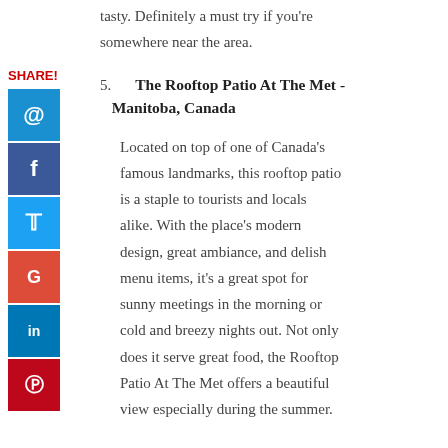tasty. Definitely a must try if you're somewhere near the area.
5. The Rooftop Patio At The Met - Manitoba, Canada
Located on top of one of Canada’s famous landmarks, this rooftop patio is a staple to tourists and locals alike. With the place’s modern design, great ambiance, and delish menu items, it’s a great spot for sunny meetings in the morning or cold and breezy nights out. Not only does it serve great food, the Rooftop Patio At The Met offers a beautiful view especially during the summer.